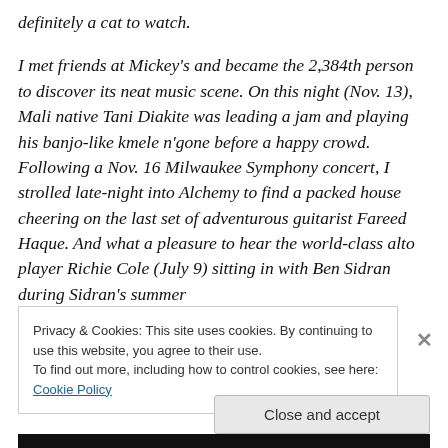definitely a cat to watch. I met friends at Mickey's and became the 2,384th person to discover its neat music scene. On this night (Nov. 13), Mali native Tani Diakite was leading a jam and playing his banjo-like kmele n'gone before a happy crowd. Following a Nov. 16 Milwaukee Symphony concert, I strolled late-night into Alchemy to find a packed house cheering on the last set of adventurous guitarist Fareed Haque. And what a pleasure to hear the world-class alto player Richie Cole (July 9) sitting in with Ben Sidran during Sidran's summer
Privacy & Cookies: This site uses cookies. By continuing to use this website, you agree to their use.
To find out more, including how to control cookies, see here: Cookie Policy
Close and accept